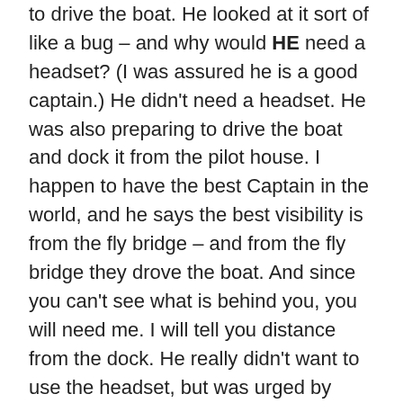to drive the boat. He looked at it sort of like a bug – and why would HE need a headset? (I was assured he is a good captain.) He didn't need a headset. He was also preparing to drive the boat and dock it from the pilot house. I happen to have the best Captain in the world, and he says the best visibility is from the fly bridge – and from the fly bridge they drove the boat. And since you can't see what is behind you, you will need me. I will tell you distance from the dock. He really didn't want to use the headset, but was urged by another gentleman to use it. Actually, it may have been that man who managed the headset.
I started the engines. They went topside, and I went out to help grab lines from the dock and prepare them for docking at the other marina. It wasn't far; the entire move was less than a half hour. I urged the Captain to take it